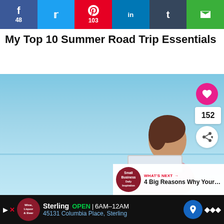[Figure (screenshot): Social media share bar with Facebook (48), Twitter, Pinterest (103), LinkedIn, Tumblr, and Email buttons]
My Top 10 Summer Road Trip Essentials
[Figure (photo): Woman looking at laptop outdoors against a blue sky background, with social interaction overlay showing 152 likes and share button, and a 'What's Next' overlay showing '4 Big Reasons Why Your...' article preview]
[Figure (screenshot): Advertisement bar for Sterling Wine, Liquor & Beer: OPEN 6AM-12AM, 45131 Columbia Place, Sterling]